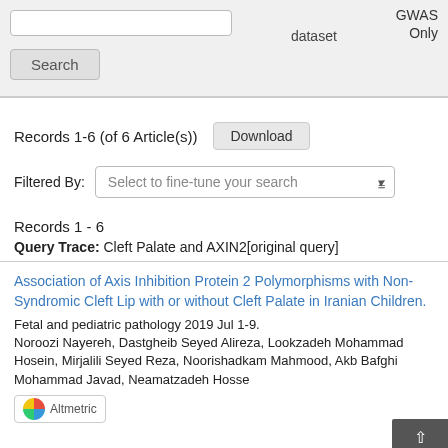[Figure (screenshot): Top bar with Search button, dataset label, and GWAS Only text on gray background]
Records 1-6 (of 6 Article(s))
Download
Filtered By:  Select to fine-tune your search
Records 1 - 6
Query Trace: Cleft Palate and AXIN2[original query]
Association of Axis Inhibition Protein 2 Polymorphisms with Non-Syndromic Cleft Lip with or without Cleft Palate in Iranian Children.
Fetal and pediatric pathology 2019 Jul 1-9.
Noroozi Nayereh, Dastgheib Seyed Alireza, Lookzadeh Mohammad Hosein, Mirjalili Seyed Reza, Noorishadkam Mahmood, Akb Bafghi Mohammad Javad, Neamatzadeh Hosse
Altmetric